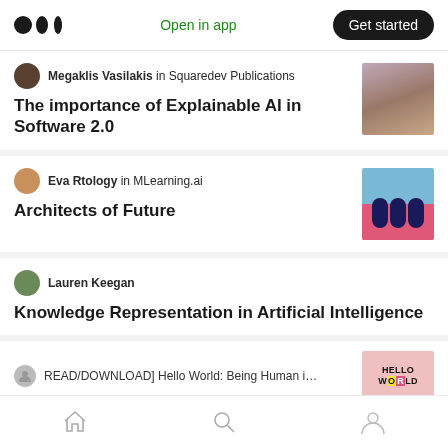Medium app header with logo, Open in app, Get started
Megaklis Vasilakis in Squaredev Publications
The importance of Explainable AI in Software 2.0
[Figure (photo): Thumbnail image for article about Explainable AI]
Eva Rtology in MLearning.ai
Architects of Future
[Figure (photo): Thumbnail image showing pink and blue architectural scene]
Lauren Keegan
Knowledge Representation in Artificial Intelligence
READ/DOWNLOAD] Hello World: Being Human i…
[Figure (photo): Hello World book cover thumbnail]
Home, Search, Profile navigation icons